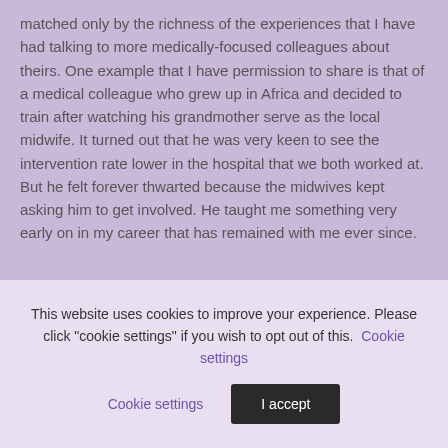matched only by the richness of the experiences that I have had talking to more medically-focused colleagues about theirs. One example that I have permission to share is that of a medical colleague who grew up in Africa and decided to train after watching his grandmother serve as the local midwife. It turned out that he was very keen to see the intervention rate lower in the hospital that we both worked at. But he felt forever thwarted because the midwives kept asking him to get involved. He taught me something very early on in my career that has remained with me ever since.
2. When you discuss a woman's care with a colleague, be clear about what you are saying.
This website uses cookies to improve your experience. Please click "cookie settings" if you wish to opt out of this. Cookie settings | I accept